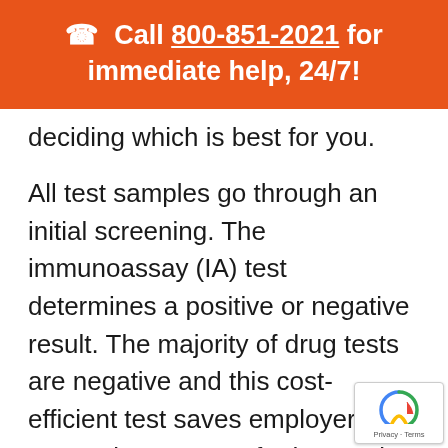☎ Call 800-851-2021 for immediate help, 24/7!
…play... deciding which is best for you.
All test samples go through an initial screening. The immunoassay (IA) test determines a positive or negative result. The majority of drug tests are negative and this cost-efficient test saves employers money because no further testing is needed.